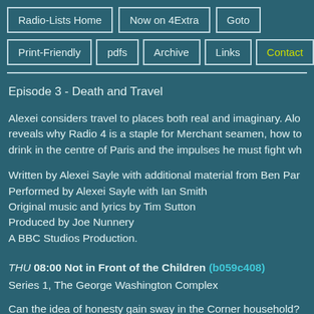Radio-Lists Home | Now on 4Extra | Goto | Print-Friendly | pdfs | Archive | Links | Contact
Episode 3 - Death and Travel
Alexei considers travel to places both real and imaginary. Alo reveals why Radio 4 is a staple for Merchant seamen, how to drink in the centre of Paris and the impulses he must fight wh
Written by Alexei Sayle with additional material from Ben Par
Performed by Alexei Sayle with Ian Smith
Original music and lyrics by Tim Sutton
Produced by Joe Nunnery
A BBC Studios Production.
THU 08:00 Not in Front of the Children (b059c408)
Series 1, The George Washington Complex
Can the idea of honesty gain sway in the Corner household?
Starring Wendy Craig as Jennifer Corner, Francis Matthews a